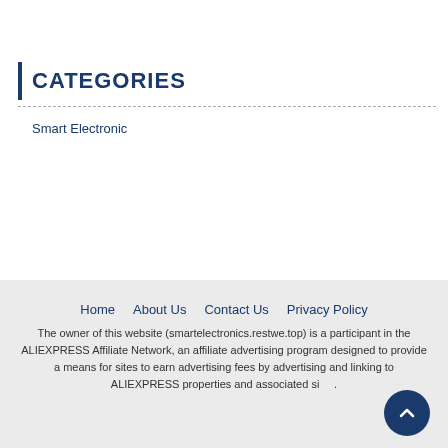CATEGORIES
Smart Electronic
Home   About Us   Contact Us   Privacy Policy
The owner of this website (smartelectronics.restwe.top) is a participant in the ALIEXPRESS Affiliate Network, an affiliate advertising program designed to provide a means for sites to earn advertising fees by advertising and linking to ALIEXPRESS properties and associated sites.